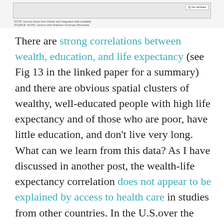[Figure (map): Partial map strip showing geographic data visualization with a legend indicating 'Not calculated' category, with source notes below.]
There are strong correlations between wealth, education, and life expectancy (see Fig 13 in the linked paper for a summary) and there are obvious spatial clusters of wealthy, well-educated people with high life expectancy and of those who are poor, have little education, and don't live very long. What can we learn from this data? As I have discussed in another post, the wealth-life expectancy correlation does not appear to be explained by access to health care in studies from other countries. In the U.S.over the past two decades, however, healthcare spending for higher-income families has surged past that for middle- and lower-income families.